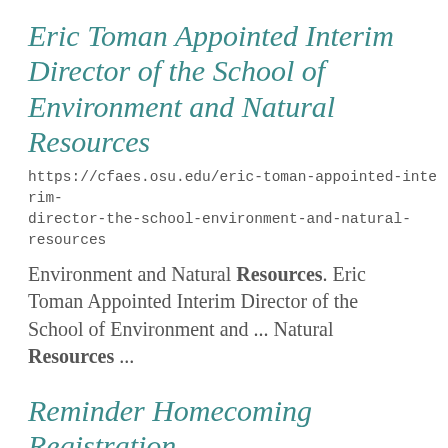Eric Toman Appointed Interim Director of the School of Environment and Natural Resources
https://cfaes.osu.edu/eric-toman-appointed-interim-director-the-school-environment-and-natural-resources
Environment and Natural Resources. Eric Toman Appointed Interim Director of the School of Environment and ... Natural Resources ...
Reminder Homecoming Registration Open
https://advancement.cfaes.ohio-